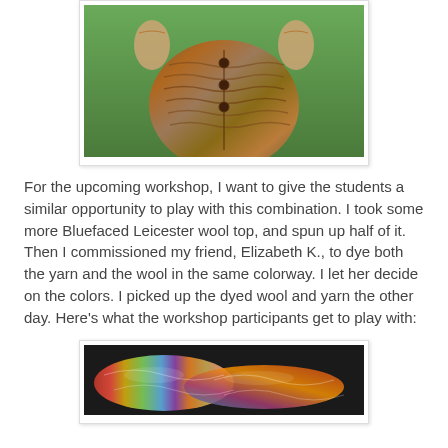[Figure (photo): A hand-knitted cardigan/coat with textured wave pattern, orange-brown-green multicolor, button front, worn outdoors on green grass background.]
For the upcoming workshop, I want to give the students a similar opportunity to play with this combination. I took some more Bluefaced Leicester wool top, and spun up half of it. Then I commissioned my friend, Elizabeth K., to dye both the yarn and the wool in the same colorway. I let her decide on the colors. I picked up the dyed wool and yarn the other day. Here's what the workshop participants get to play with:
[Figure (photo): Skeins of hand-dyed yarn in vibrant multicolors including red, yellow-green, blue-gray, orange, and purple arranged together.]